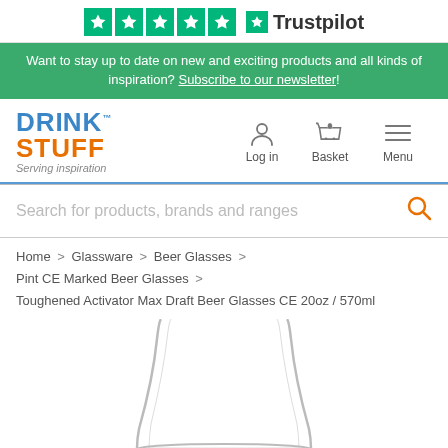[Figure (logo): Trustpilot 5-star rating badge with green stars and Trustpilot logo]
Want to stay up to date on new and exciting products and all kinds of inspiration? Subscribe to our newsletter!
[Figure (logo): DrinkStuff logo with blue DRINK and orange STUFF text, tagline: Serving inspiration. Navigation icons for Log in, Basket (0), and Menu.]
Search for products, brands and ranges
Home > Glassware > Beer Glasses > Pint CE Marked Beer Glasses > Toughened Activator Max Draft Beer Glasses CE 20oz / 570ml
[Figure (photo): Bottom portion of a clear pint beer glass on white background]